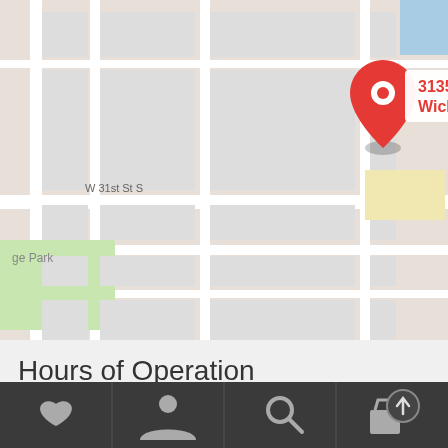[Figure (map): Google Maps screenshot showing location pin at 3135 S Seneca St, Wichita, KS 67217 with surrounding street grid]
Hours of Operation
Not interested in renting? - Visit us at bashamsfurniture.com
Dismiss
[Figure (screenshot): Bottom navigation bar with heart, person, search, and cart icons on dark background]